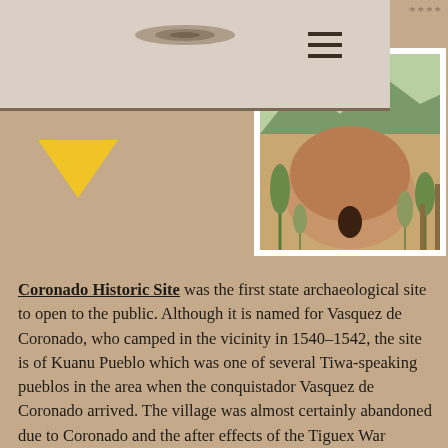Navigation bar with logo and hamburger menu
[Figure (photo): Photograph of a round adobe/mud structure (Kuaua Pueblo style) with a small doorway opening, surrounded by desert vegetation including yucca plants, with mountains visible in background]
Coronado Historic Site was the first state archaeological site to open to the public. Although it is named for Vasquez de Coronado, who camped in the vicinity in 1540–1542, the site is of Kuanu Pueblo which was one of several Tiwa-speaking pueblos in the area when the conquistador Vasquez de Coronado arrived. The village was almost certainly abandoned due to Coronado and the after effects of the Tiguex War (February 1541).
Visitors can enjoy and learn from the site, especially the mural room which features one of the finest examples of pre-contact Native American art to be found anywhere in North America. Docent tours will begin sometime in late summer.
Learn more about Coronado Historic Site.
************************************